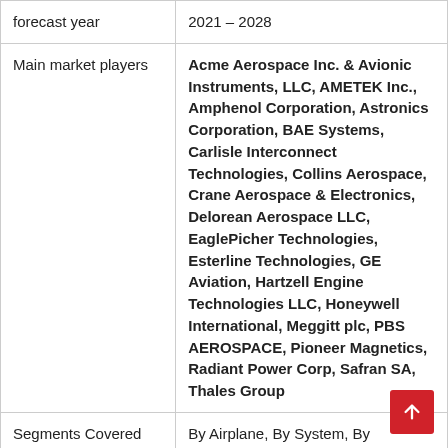| forecast year | 2021 – 2028 |
| Main market players | Acme Aerospace Inc. & Avionic Instruments, LLC, AMETEK Inc., Amphenol Corporation, Astronics Corporation, BAE Systems, Carlisle Interconnect Technologies, Collins Aerospace, Crane Aerospace & Electronics, Delorean Aerospace LLC, EaglePicher Technologies, Esterline Technologies, GE Aviation, Hartzell Engine Technologies LLC, Honeywell International, Meggitt plc, PBS AEROSPACE, Pioneer Magnetics, Radiant Power Corp, Safran SA, Thales Group |
| Segments Covered | By Airplane, By System, By Component, By Application, By |